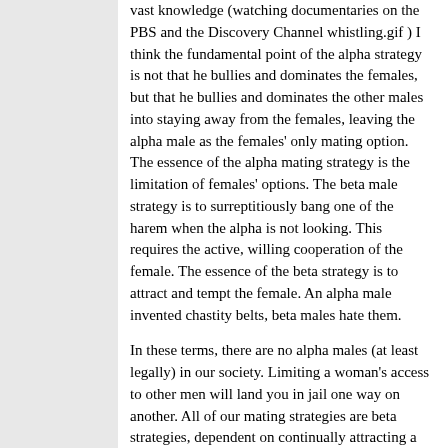vast knowledge (watching documentaries on the PBS and the Discovery Channel whistling.gif ) I think the fundamental point of the alpha strategy is not that he bullies and dominates the females, but that he bullies and dominates the other males into staying away from the females, leaving the alpha male as the females' only mating option. The essence of the alpha mating strategy is the limitation of females' options. The beta male strategy is to surreptitiously bang one of the harem when the alpha is not looking. This requires the active, willing cooperation of the female. The essence of the beta strategy is to attract and tempt the female. An alpha male invented chastity belts, beta males hate them.
In these terms, there are no alpha males (at least legally) in our society. Limiting a woman's access to other men will land you in jail one way on another. All of our mating strategies are beta strategies, dependent on continually attracting a woman. PUA's may have identified alpha-like traits which women respond to, but in the end their strategy is just dressed-up beta.
It's at this point that fschmidt's co-alphas come in. The alpha/beta dynamic and a beta-only dynamic, keeps men in perpetual competition with one another for females. A tight-knit b